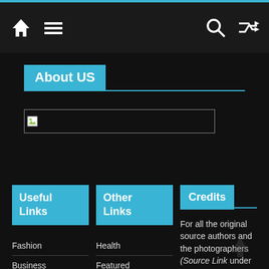Navigation bar with home, menu, search, and shuffle icons
About US
[Figure (other): Broken/unloaded image placeholder rectangle]
Useful Links
Fashion
Business
Other Links
Health
Featured
Credits
For all the original source authors and the photographers (Source Link under